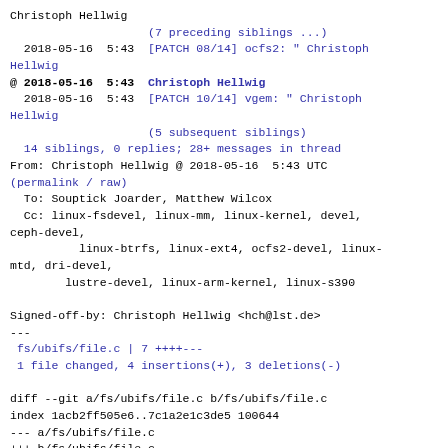Christoph Hellwig
    (7 preceding siblings ...)
  2018-05-16  5:43  [PATCH 08/14] ocfs2: " Christoph Hellwig
@ 2018-05-16  5:43  Christoph Hellwig
  2018-05-16  5:43  [PATCH 10/14] vgem: " Christoph Hellwig
                    (5 subsequent siblings)
  14 siblings, 0 replies; 28+ messages in thread
From: Christoph Hellwig @ 2018-05-16  5:43 UTC
(permalink / raw)
  To: Souptick Joarder, Matthew Wilcox
  Cc: linux-fsdevel, linux-mm, linux-kernel, devel, ceph-devel,
          linux-btrfs, linux-ext4, ocfs2-devel, linux-mtd, dri-devel,
        lustre-devel, linux-arm-kernel, linux-s390

Signed-off-by: Christoph Hellwig <hch@lst.de>
---
 fs/ubifs/file.c | 7 ++++---
 1 file changed, 4 insertions(+), 3 deletions(-)

diff --git a/fs/ubifs/file.c b/fs/ubifs/file.c
index 1acb2ff505e6..7c1a2e1c3de5 100644
--- a/fs/ubifs/file.c
+++ b/fs/ubifs/file.c
@@ -1513,7 +1513,7 @@ static int
ubifs_releasepage(struct page *page, gfp_t
unused_gfp_flags)